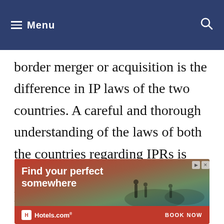Menu
border merger or acquisition is the difference in IP laws of the two countries. A careful and thorough understanding of the laws of both the countries regarding IPRs is also very important to mitigate the losses.
[Figure (other): Advertisement banner for Hotels.com with text 'Find your perfect somewhere' and a 'BOOK NOW' call to action, showing a beach/resort scene.]